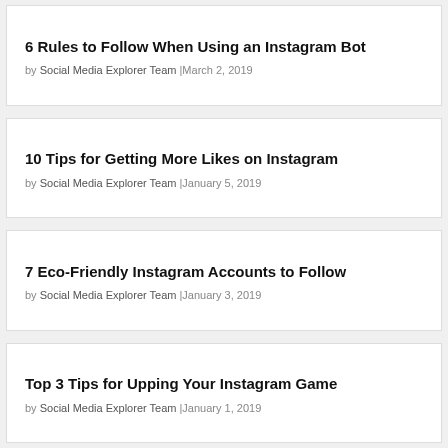6 Rules to Follow When Using an Instagram Bot
by Social Media Explorer Team |March 2, 2019
10 Tips for Getting More Likes on Instagram
by Social Media Explorer Team |January 5, 2019
7 Eco-Friendly Instagram Accounts to Follow
by Social Media Explorer Team |January 3, 2019
Top 3 Tips for Upping Your Instagram Game
by Social Media Explorer Team |January 1, 2019